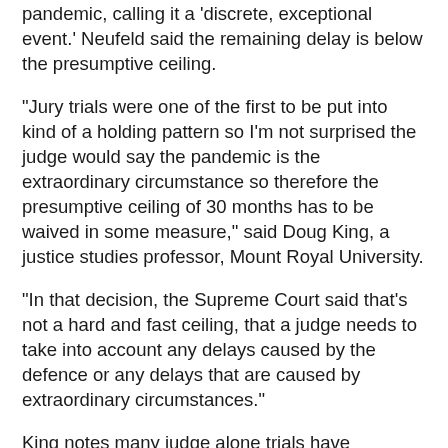pandemic, calling it a 'discrete, exceptional event.' Neufeld said the remaining delay is below the presumptive ceiling.
"Jury trials were one of the first to be put into kind of a holding pattern so I'm not surprised the judge would say the pandemic is the extraordinary circumstance so therefore the presumptive ceiling of 30 months has to be waived in some measure," said Doug King, a justice studies professor, Mount Royal University.
"In that decision, the Supreme Court said that's not a hard and fast ceiling, that a judge needs to take into account any delays caused by the defence or any delays that are caused by extraordinary circumstances."
King notes many judge alone trials have continued.
"Non-jury trials have been going on all the time so there's no excuse there for the COVID-19 pandemic to be delaying trials here, because you could limit it" he said.